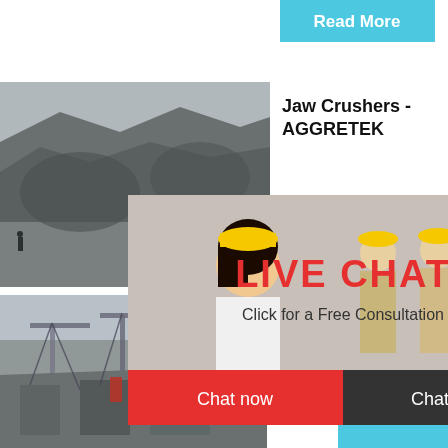[Figure (screenshot): Read More button in cyan/teal color at top right]
[Figure (photo): Quarry/mining site with rocky terrain and a worker visible]
Jaw Crushers - AGGRETEK
...are one of th...
[Figure (screenshot): Live Chat popup overlay with workers in hard hats, LIVE CHAT heading in red, Click for a Free Consultation subtext, Chat now and Chat later buttons]
[Figure (photo): Cone crusher machine image on blue background on right side panel]
hour online
Click me to chat>>
Enquiry
Read  limingjlmofen
[Figure (photo): Bottom quarry/industrial site photo with cranes and heavy machinery]
Jaw Cr...
2021-11-...